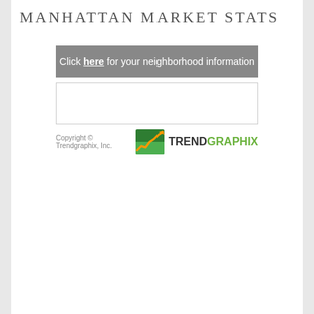MANHATTAN MARKET STATS
Click here for your neighborhood information
[Figure (other): Empty white rectangle with light gray border]
Copyright © Trendgraphix, Inc.
[Figure (logo): Trendgraphix logo with green and orange upward trending chart icon followed by TRENDGRAPHIX text in dark and green colors]